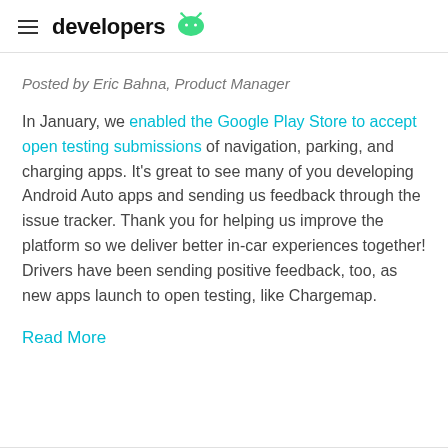≡ developers 🤖
Posted by Eric Bahna, Product Manager
In January, we enabled the Google Play Store to accept open testing submissions of navigation, parking, and charging apps. It's great to see many of you developing Android Auto apps and sending us feedback through the issue tracker. Thank you for helping us improve the platform so we deliver better in-car experiences together! Drivers have been sending positive feedback, too, as new apps launch to open testing, like Chargemap.
Read More